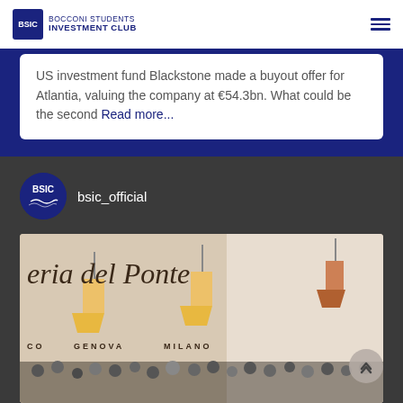BOCCONI STUDENTS INVESTMENT CLUB
US investment fund Blackstone made a buyout offer for Atlantia, valuing the company at €54.3bn. What could be the second Read more...
bsic_official
[Figure (photo): Group photo of BSIC members at Trattoria del Ponte restaurant with GENOVA and MILANO signage visible]